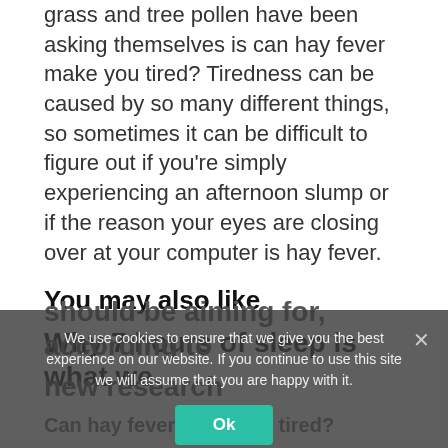grass and tree pollen have been asking themselves is can hay fever make you tired? Tiredness can be caused by so many different things, so sometimes it can be difficult to figure out if you’re simply experiencing an afternoon slump or if the reason your eyes are closing over at your computer is hay fever.
You may also like
Why 7 hours of sleep is what we should be aiming for, according to new research
Can hay fever make you tired?
According to Dr Ross Perry, medical director of
We use cookies to ensure that we give you the best experience on our website. If you continue to use this site we will assume that you are happy with it.